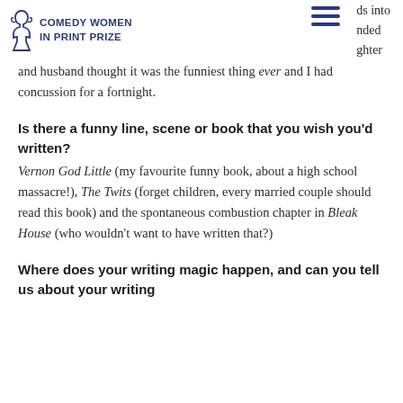COMEDY WOMEN IN PRINT PRIZE
ds into ded ghter and husband thought it was the funniest thing ever and I had concussion for a fortnight.
Is there a funny line, scene or book that you wish you'd written?
Vernon God Little (my favourite funny book, about a high school massacre!), The Twits (forget children, every married couple should read this book) and the spontaneous combustion chapter in Bleak House (who wouldn't want to have written that?)
Where does your writing magic happen, and can you tell us about your writing